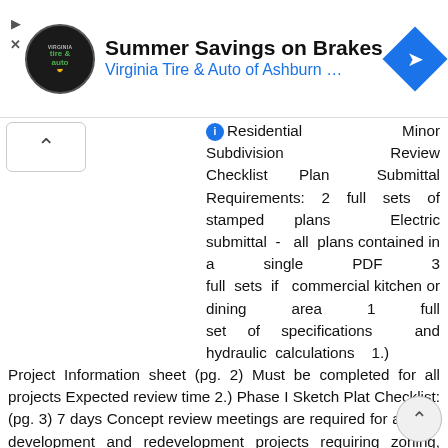[Figure (screenshot): Advertisement banner for Virginia Tire & Auto of Ashburn - Summer Savings on Brakes with logo and navigation arrow icon]
Residential Minor Subdivision Review Checklist Plan Submittal Requirements: 2 full sets of stamped plans Electric submittal - all plans contained in a single PDF 3 full sets if commercial kitchen or dining area 1 full set of specifications and hydraulic calculations 1.) Project Information sheet (pg. 2) Must be completed for all projects Expected review time 2.) Phase I Sketch Plat Checklist: (pg. 3) 7 days Concept review meetings are required for all new development and redevelopment projects requiring zoning, plating, pre-treatment, stormwater, floodplain, or variance requests. To request a concept review meeting submit required information by